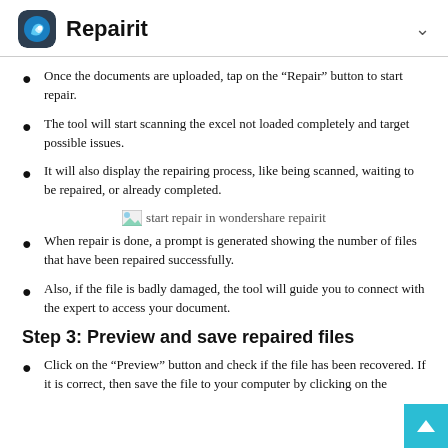Repairit
Once the documents are uploaded, tap on the “Repair” button to start repair.
The tool will start scanning the excel not loaded completely and target possible issues.
It will also display the repairing process, like being scanned, waiting to be repaired, or already completed.
[Figure (screenshot): start repair in wondershare repairit]
When repair is done, a prompt is generated showing the number of files that have been repaired successfully.
Also, if the file is badly damaged, the tool will guide you to connect with the expert to access your document.
Step 3: Preview and save repaired files
Click on the “Preview” button and check if the file has been recovered. If it is correct, then save the file to your computer by clicking on the